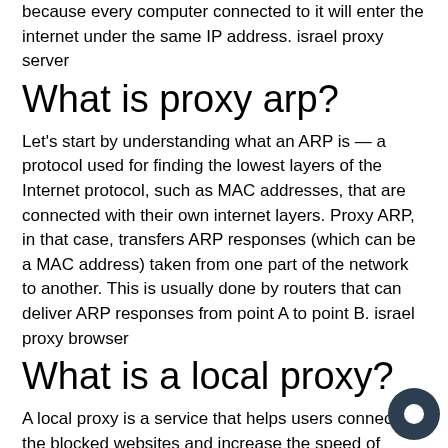because every computer connected to it will enter the internet under the same IP address. israel proxy server
What is proxy arp?
Let's start by understanding what an ARP is — a protocol used for finding the lowest layers of the Internet protocol, such as MAC addresses, that are connected with their own internet layers. Proxy ARP, in that case, transfers ARP responses (which can be a MAC address) taken from one part of the network to another. This is usually done by routers that can deliver ARP responses from point A to point B. israel proxy browser
What is a local proxy?
A local proxy is a service that helps users connect to the blocked websites and increase the speed of various online operations such as data mining. It is extremely helpful when a user needs to do the same operation on one website over and over again. A